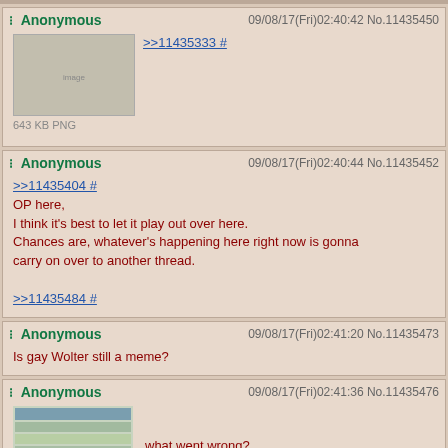Anonymous 09/08/17(Fri)02:40:42 No.11435450 >>11435333 # 643 KB PNG
Anonymous 09/08/17(Fri)02:40:44 No.11435452 >>11435404 # OP here, I think it's best to let it play out over here. Chances are, whatever's happening here right now is gonna carry on over to another thread. >>11435484 #
Anonymous 09/08/17(Fri)02:41:20 No.11435473 Is gay Wolter still a meme?
Anonymous 09/08/17(Fri)02:41:36 No.11435476 what went wrong?